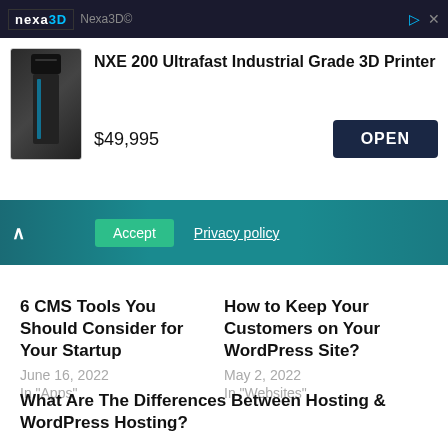[Figure (screenshot): Nexa3D advertisement banner showing NXE 200 Ultrafast Industrial Grade 3D Printer priced at $49,995 with an OPEN button]
[Figure (screenshot): Teal cookie/privacy notification bar with Accept and Privacy policy buttons and a chevron up icon]
6 CMS Tools You Should Consider for Your Startup
June 16, 2022
In "Apps"
How to Keep Your Customers on Your WordPress Site?
May 2, 2022
In "Websites"
What Are The Differences Between Hosting & WordPress Hosting?